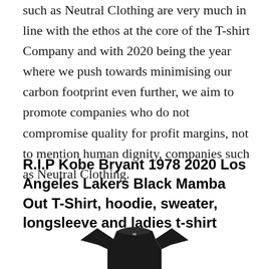such as Neutral Clothing are very much in line with the ethos at the core of the T-shirt Company and with 2020 being the year where we push towards minimising our carbon footprint even further, we aim to promote companies who do not compromise quality for profit margins, not to mention human dignity, companies such as Neutral Clothing.
R.I.P Kobe Bryant 1978 2020 Los Angeles Lakers Black Mamba Out T-Shirt, hoodie, sweater, longsleeve and ladies t-shirt
[Figure (photo): Partial view of a black t-shirt from the top, showing the collar and upper chest area against a white background]